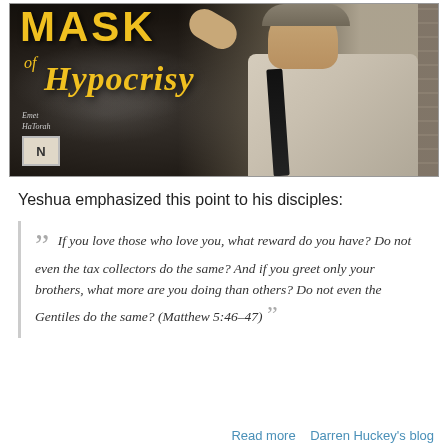[Figure (illustration): Book cover for 'Mask of Hypocrisy' by Emet HaTorah, showing a man in a white shirt and dark tie with a cap, against a dark smoky background. Title text in yellow/gold stylized font.]
Yeshua emphasized this point to his disciples:
If you love those who love you, what reward do you have? Do not even the tax collectors do the same? And if you greet only your brothers, what more are you doing than others? Do not even the Gentiles do the same? (Matthew 5:46–47)
Read more   Darren Huckey's blog